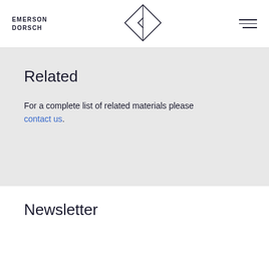EMERSON DORSCH
[Figure (logo): Emerson Dorsch diamond/arrow logo in center of header]
Related
For a complete list of related materials please contact us.
Newsletter